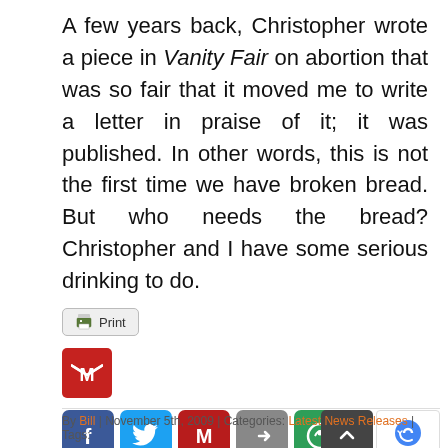A few years back, Christopher wrote a piece in Vanity Fair on abortion that was so fair that it moved me to write a letter in praise of it; it was published. In other words, this is not the first time we have broken bread. But who needs the bread? Christopher and I have some serious drinking to do.
[Figure (screenshot): Print button with printer icon]
[Figure (logo): Gmail M logo button (red square with M)]
[Figure (infographic): Social sharing buttons: Facebook, Twitter, Gmail, Share arrow, and a circular share icon]
By Bill | November 5th, 2009 | Categories: Latest News Releases | Tags: